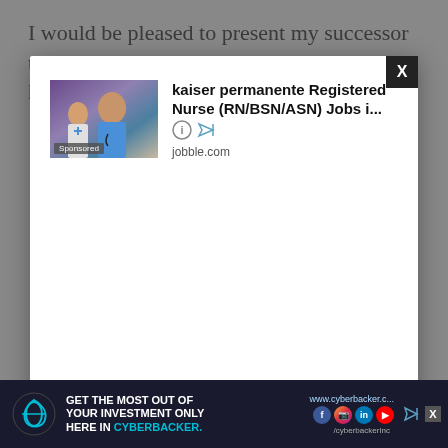I would be pleased to present my successor to our suppliers around the country since I have strong
[Figure (screenshot): Modal dialog overlay showing a Kaiser Permanente Registered Nurse (RN/BSN/ASN) Jobs sponsored advertisement from jobble.com, with a close button (X) in upper right corner. The ad features a photo of a smiling nurse and text about the job listing.]
With
[Figure (screenshot): Bottom banner advertisement for Cyberbacker showing 'GET THE MOST OUT OF YOUR INVESTMENT ONLY HERE IN CYBERBACKER.' with social media icons and website www.cyberbacker.com]